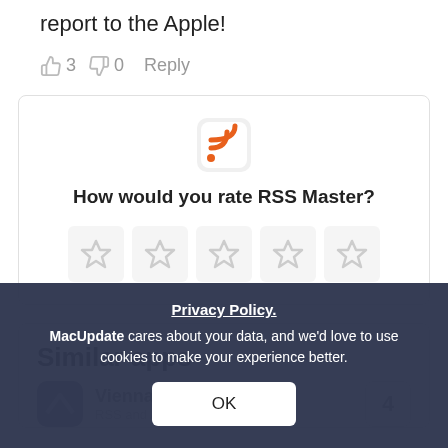report to the Apple!
👍 3  👎 0   Reply
[Figure (other): Rating widget card with RSS Master app icon, question 'How would you rate RSS Master?' and 5 empty star rating boxes]
Similar apps
Privacy Policy.
MacUpdate cares about your data, and we'd love to use cookies to make your experience better.
OK